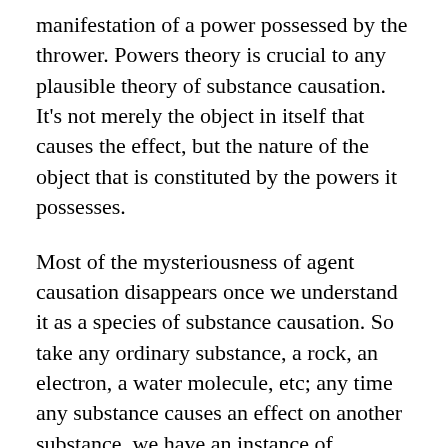manifestation of a power possessed by the thrower. Powers theory is crucial to any plausible theory of substance causation. It's not merely the object in itself that causes the effect, but the nature of the object that is constituted by the powers it possesses.
Most of the mysteriousness of agent causation disappears once we understand it as a species of substance causation. So take any ordinary substance, a rock, an electron, a water molecule, etc; any time any substance causes an effect on another substance, we have an instance of substance causation. What distinguishes agent causation from ordinary instances of substance causation is that there is an intention behind it. This entails that agent causation is fairly common place within the animal kingdom